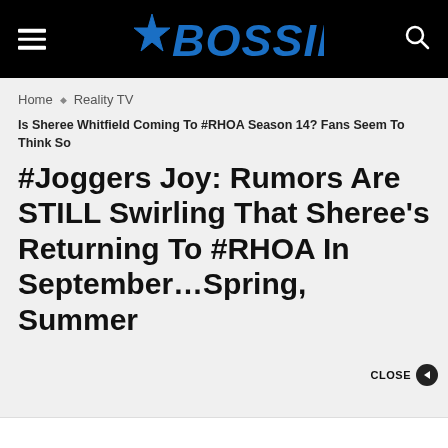BOSSIP
Home ◆ Reality TV
Is Sheree Whitfield Coming To #RHOA Season 14? Fans Seem To Think So
#Joggers Joy: Rumors Are STILL Swirling That Sheree's Returning To #RHOA In September…Spring, Summer